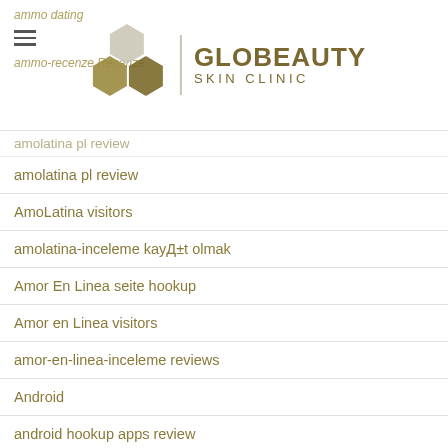ammo dating | GLOBEAUTY SKIN CLINIC
amolatina pl review
AmoLatina visitors
amolatina-inceleme kayıt olmak
Amor En Linea seite hookup
Amor en Linea visitors
amor-en-linea-inceleme reviews
Android
android hookup apps review
android hookup apps sites
android-de reviews
android-it visitors